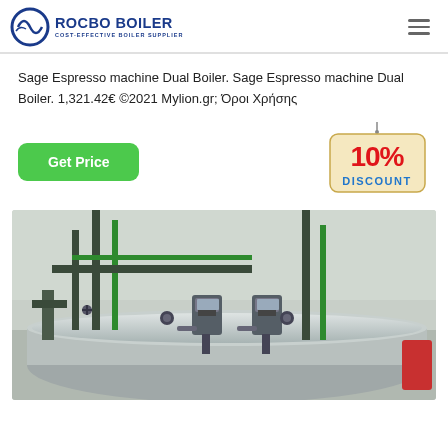[Figure (logo): Rocbo Boiler logo with circular blue icon and company name 'ROCBO BOILER - COST-EFFECTIVE BOILER SUPPLIER']
Sage Espresso machine Dual Boiler. Sage Espresso machine Dual Boiler. 1,321.42€ ©2021 Mylion.gr; Όροι Χρήσης
[Figure (infographic): Green 'Get Price' button on the left; 10% DISCOUNT badge on the right]
[Figure (photo): Industrial boiler equipment photo showing large cylindrical boiler with pipes, valves, and pumps in a facility]